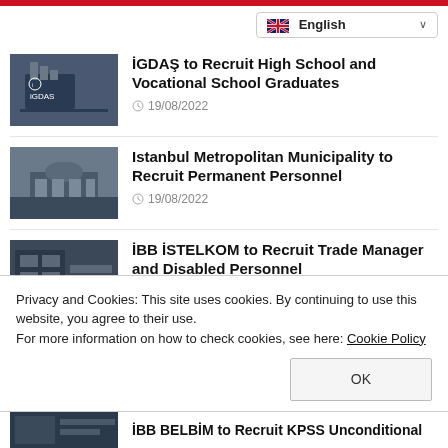[Figure (screenshot): Red top bar decorative element]
[Figure (screenshot): English language selector dropdown]
[Figure (photo): İGDAŞ building exterior thumbnail]
İGDAŞ to Recruit High School and Vocational School Graduates
19/08/2022
[Figure (photo): Istanbul Metropolitan Municipality building thumbnail]
Istanbul Metropolitan Municipality to Recruit Permanent Personnel
19/08/2022
[Figure (photo): IBB ISTELKOM office thumbnail]
İBB İSTELKOM to Recruit Trade Manager and Disabled Personnel
18/08/2022
Privacy and Cookies: This site uses cookies. By continuing to use this website, you agree to their use.
For more information on how to check cookies, see here: Cookie Policy
[Figure (photo): İBB BELBİM partial thumbnail]
İBB BELBİM to Recruit KPSS Unconditional